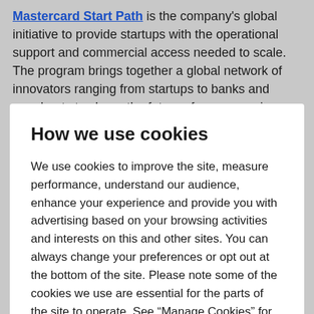Mastercard Start Path is the company's global initiative to provide startups with the operational support and commercial access needed to scale. The program brings together a global network of innovators ranging from startups to banks and merchants to shape the future of commerce in an agile and accelerated manner. Start
How we use cookies
We use cookies to improve the site, measure performance, understand our audience, enhance your experience and provide you with advertising based on your browsing activities and interests on this and other sites. You can always change your preferences or opt out at the bottom of the site. Please note some of the cookies we use are essential for the parts of the site to operate. See “Manage Cookies” for details.